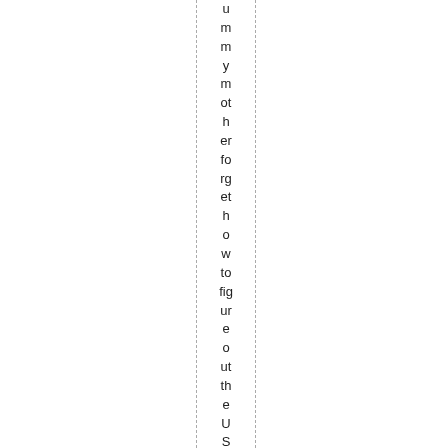ummy mother forget how to figure out the USERNAME for